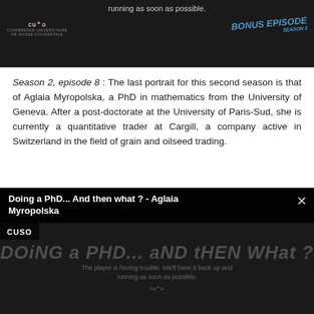[Figure (screenshot): Top video player showing dark background with 'running as soon as possible.' text, CUSO logo, and 'BONUS EPISODE SEASON 2' badge in blue.]
Season 2, episode 8 : The last portrait for this second season is that of Aglaia Myropolska, a PhD in mathematics from the University of Geneva. After a post-doctorate at the University of Paris-Sud, she is currently a quantitative trader at Cargill, a company active in Switzerland in the field of grain and oilseed trading.
[Figure (screenshot): Bottom video player with title 'Doing a PhD... And then what ? - Aglaia Myropolska', CUSO branding, and large stylized text 'DOiNG a PhD... aND tHEN WHat ?' with player error message 'The player is having trouble. We'll have it back up and running as soon as possible.']